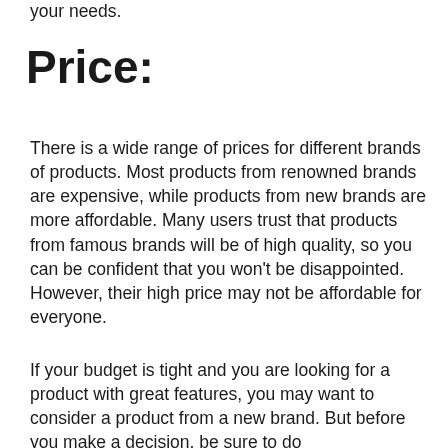your needs.
Price:
There is a wide range of prices for different brands of products. Most products from renowned brands are expensive, while products from new brands are more affordable. Many users trust that products from famous brands will be of high quality, so you can be confident that you won't be disappointed. However, their high price may not be affordable for everyone.
If your budget is tight and you are looking for a product with great features, you may want to consider a product from a new brand. But before you make a decision, be sure to do